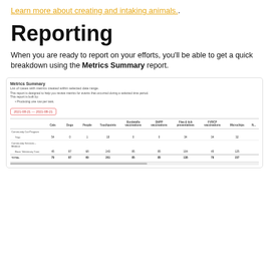Learn more about creating and intaking animals.
Reporting
When you are ready to report on your efforts, you'll be able to get a quick breakdown using the Metrics Summary report.
[Figure (screenshot): Screenshot of a Metrics Summary report showing a table with columns for Cats, Dogs, People, Touchpoints, Bordetella vaccinations, DHPP vaccinations, Flea & tick preventatives, FVRCP vaccinations, Microchips. Rows include Community Cat Program (Trap), Community Services - Medical (Basic Veterinary Care), and a TOTAL row. Date range: 2021-08-21 — 2021-08-21.]